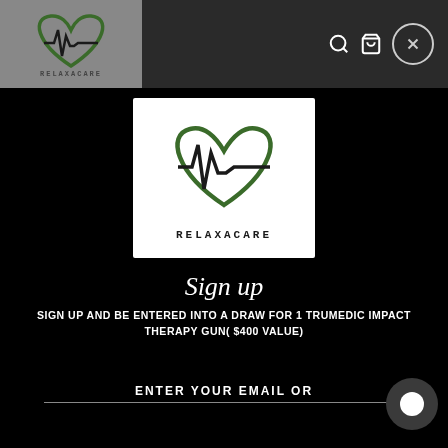[Figure (logo): Relaxacare logo in navigation bar — heart with ECG line, green and black colors, on gray background]
[Figure (logo): Relaxacare logo on white background — green heart outline with black ECG/heartbeat line inside, text RELAXACARE below in spaced serif capitals]
Sign up
SIGN UP AND BE ENTERED INTO A DRAW FOR 1 TRUMEDIC IMPACT THERAPY GUN( $400 VALUE)
ENTER YOUR EMAIL OR